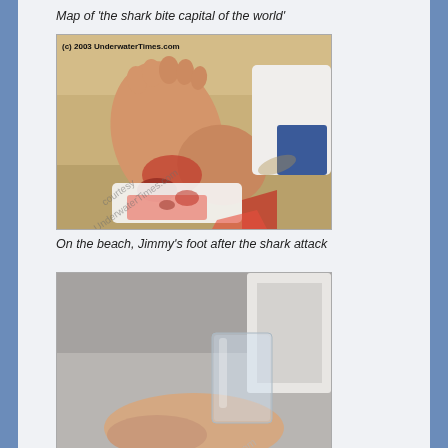Map of 'the shark bite capital of the world'
[Figure (photo): Photo of a foot on a beach with shark bite injury, blood visible, wrapped in white cloth. Watermark: courtesy UnderwaterTimes.com. Copyright (c) 2003 UnderwaterTimes.com]
On the beach, Jimmy's foot after the shark attack
[Figure (photo): Close-up photo of a hand or foot, lighter background, partial watermark visible reading 'com']